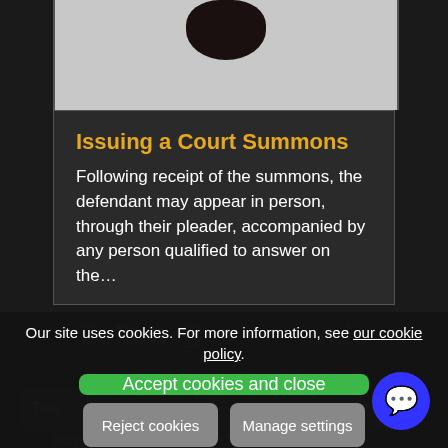[Figure (photo): Top portion of an article card showing a dark object (possibly a gavel) on a light grey background]
Issuing a Court Summons
Following receipt of the summons, the defendant may appear in person, through their pleader, accompanied by any person qualified to answer on the…
Our site uses cookies. For more information, see our cookie policy.
Accept cookies and close
Reject cookies
Manage settings
Follow @cc        wide
Twe                low
Serving Divorce Papers: How to Do It?